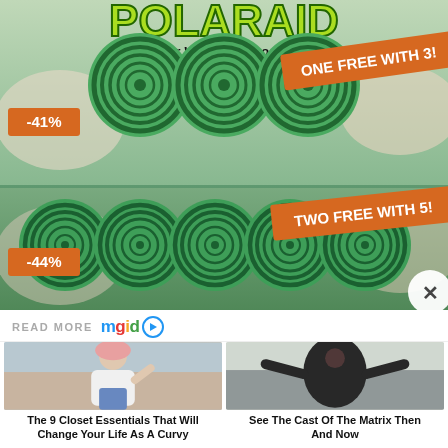[Figure (photo): POLARAID advertisement banner showing green spiral disc products with orange promotional badges. Top section shows 3 discs with -41% badge and 'ONE FREE WITH 3!' banner. Bottom section shows 5 discs with -44% badge and 'TWO FREE WITH 5!' banner. A close button X appears at bottom right.]
READ MORE mgid
[Figure (photo): Article thumbnail - woman in white crop top and pink beanie posing outdoors]
The 9 Closet Essentials That Will Change Your Life As A Curvy
[Figure (photo): Article thumbnail - person in black outfit posing dramatically on rooftop]
See The Cast Of The Matrix Then And Now